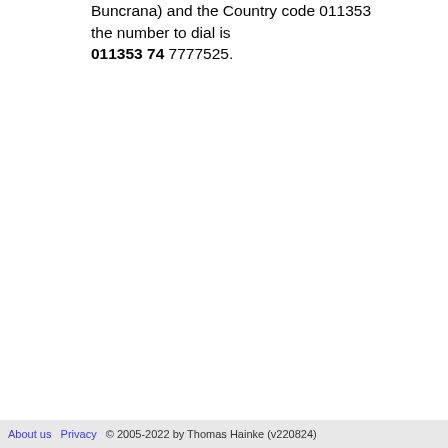Buncrana) and the Country code 011353 the number to dial is 011353 74 7777525.
About us   Privacy   © 2005-2022 by Thomas Hainke (v220824)